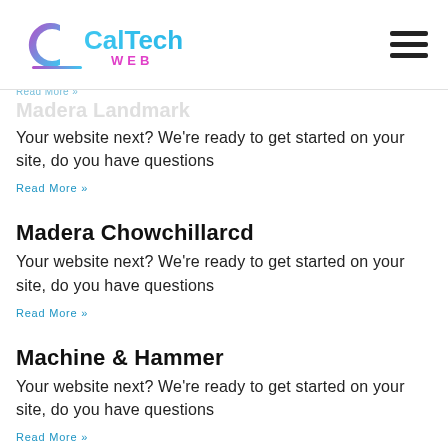CalTech WEB
Read More »
Madera Landmark
Your website next? We're ready to get started on your site, do you have questions
Read More »
Madera Chowchillarcd
Your website next? We're ready to get started on your site, do you have questions
Read More »
Machine & Hammer
Your website next? We're ready to get started on your site, do you have questions
Read More »